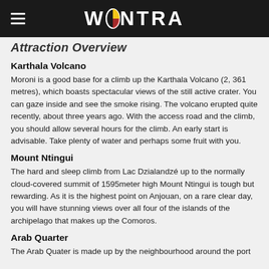WONTRA
Attraction Overview
Karthala Volcano
Moroni is a good base for a climb up the Karthala Volcano (2, 361 metres), which boasts spectacular views of the still active crater. You can gaze inside and see the smoke rising. The volcano erupted quite recently, about three years ago. With the access road and the climb, you should allow several hours for the climb. An early start is advisable. Take plenty of water and perhaps some fruit with you.
Mount Ntingui
The hard and sleep climb from Lac Dzialandzé up to the normally cloud-covered summit of 1595meter high Mount Ntingui is tough but rewarding. As it is the highest point on Anjouan, on a rare clear day, you will have stunning views over all four of the islands of the archipelago that makes up the Comoros.
Arab Quarter
The Arab Quater is made up by the neighbourhood around the port